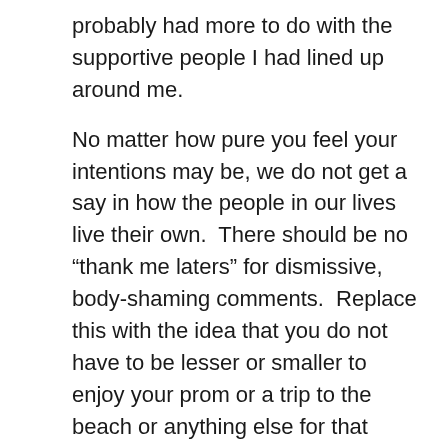probably had more to do with the supportive people I had lined up around me.

No matter how pure you feel your intentions may be, we do not get a say in how the people in our lives live their own. There should be no “thank me laters” for dismissive, body-shaming comments. Replace this with the idea that you do not have to be lesser or smaller to enjoy your prom or a trip to the beach or anything else for that matter. Self-confidence comes from the inside and while it is a personal endeavor, we can play a part in our peer’s